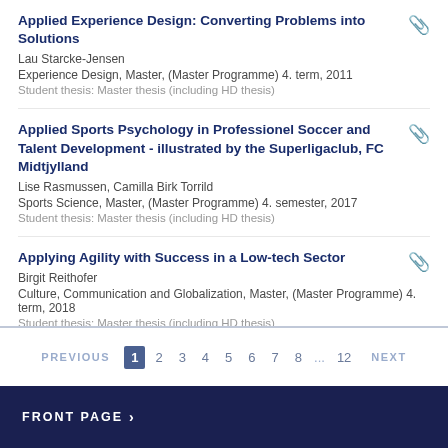Applied Experience Design: Converting Problems into Solutions
Lau Starcke-Jensen
Experience Design, Master, (Master Programme) 4. term, 2011
Student thesis: Master thesis (including HD thesis)
Applied Sports Psychology in Professionel Soccer and Talent Development - illustrated by the Superligaclub, FC Midtjylland
Lise Rasmussen, Camilla Birk Torrild
Sports Science, Master, (Master Programme) 4. semester, 2017
Student thesis: Master thesis (including HD thesis)
Applying Agility with Success in a Low-tech Sector
Birgit Reithofer
Culture, Communication and Globalization, Master, (Master Programme) 4. term, 2018
Student thesis: Master thesis (including HD thesis)
PREVIOUS 1 2 3 4 5 6 7 8 ... 12 NEXT
FRONT PAGE ›